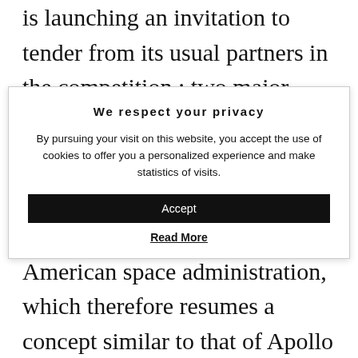is launching an invitation to tender from its usual partners in the competition : two major consortiums led respectively by Northrop Grumman and Lockheed
We respect your privacy
By pursuing your visit on this website, you accept the use of cookies to offer you a personalized experience and make statistics of visits.
Accept
Read More
the Space Shuttle has left a bitter taste on the side of the American space administration, which therefore resumes a concept similar to that of Apollo